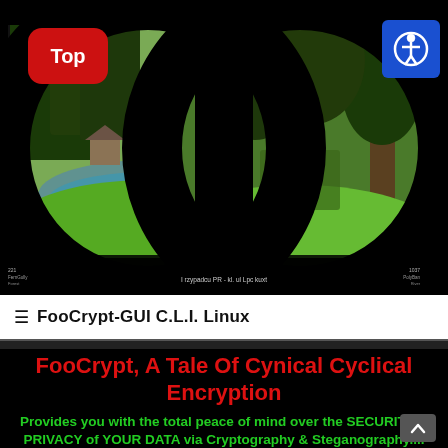[Figure (photo): Binocular-vignette view of a forest scene with trees, green grass, and a pond/river. Black circular vignette borders as if seen through binoculars.]
Top
Accessibility icon
I rzypadcu PR - kl. ul Lpc kuxt
≡ FooCrypt-GUI C.L.I. Linux
FooCrypt, A Tale Of Cynical Cyclical Encryption
Provides you with the total peace of mind over the SECURITY & PRIVACY of YOUR DATA via Cryptography & Steganography....